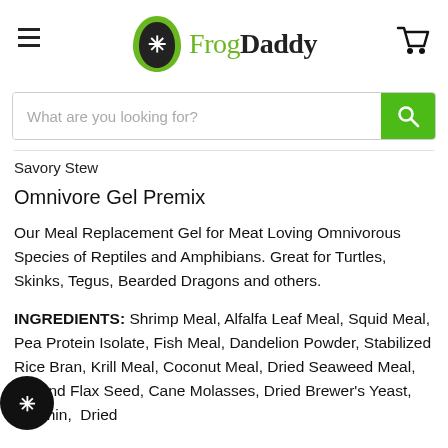[Figure (logo): FrogDaddy logo with green frog icon and text 'FrogDaddy' in green and black]
What are you looking for?
Savory Stew
Omnivore Gel Premix
Our Meal Replacement Gel for Meat Loving Omnivorous Species of Reptiles and Amphibians. Great for Turtles, Skinks, Tegus, Bearded Dragons and others.
INGREDIENTS: Shrimp Meal, Alfalfa Leaf Meal, Squid Meal, Pea Protein Isolate, Fish Meal, Dandelion Powder, Stabilized Rice Bran, Krill Meal, Coconut Meal, Dried Seaweed Meal, Ground Flax Seed, Cane Molasses, Dried Brewer's Yeast, Lecithin, Dried